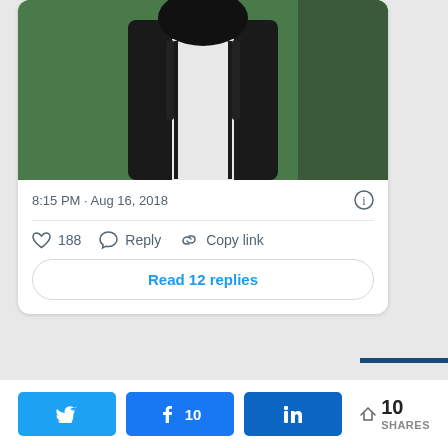[Figure (screenshot): Twitter/X tweet card showing a video thumbnail of a person outdoors with a play button, timestamp 8:15 PM · Aug 16, 2018, action icons (188 likes, Reply, Copy link), and a Read 12 replies button]
8:15 PM · Aug 16, 2018
188  Reply  Copy link
Read 12 replies
Twitter  Facebook 10  LinkedIn  < 10 SHARES